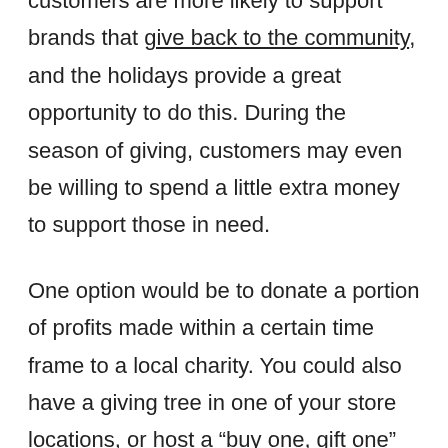customers are more likely to support brands that give back to the community, and the holidays provide a great opportunity to do this. During the season of giving, customers may even be willing to spend a little extra money to support those in need.

One option would be to donate a portion of profits made within a certain time frame to a local charity. You could also have a giving tree in one of your store locations, or host a “buy one, gift one” campaign where you donate an item to a family in need for each item purchased.